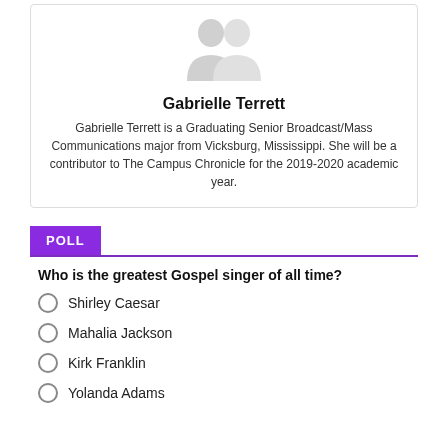[Figure (illustration): Generic person/avatar silhouette icon in light gray]
Gabrielle Terrett
Gabrielle Terrett is a Graduating Senior Broadcast/Mass Communications major from Vicksburg, Mississippi. She will be a contributor to The Campus Chronicle for the 2019-2020 academic year.
POLL
Who is the greatest Gospel singer of all time?
Shirley Caesar
Mahalia Jackson
Kirk Franklin
Yolanda Adams